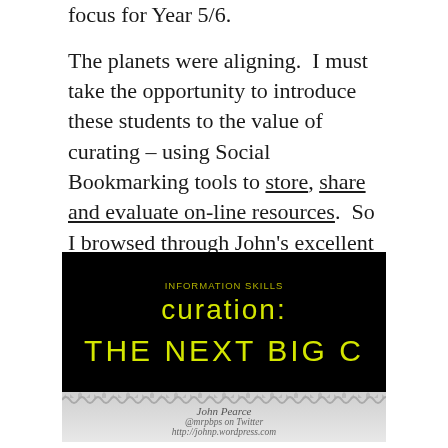focus for Year 5/6.
The planets were aligning.  I must take the opportunity to introduce these students to the value of curating – using Social Bookmarking tools to store, share and evaluate on-line resources.  So I browsed through John's excellent list of Curation tools :
[Figure (photo): Slide image with black background showing text 'curation:' and 'THE NEXT BIG C' in yellow-green font, with gray bottom section showing 'John Pearce @mrpbps on Twitter http://johnp.wordpress.com']